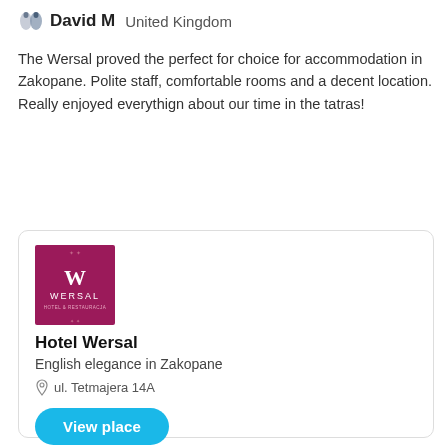David M  United Kingdom
The Wersal proved the perfect for choice for accommodation in Zakopane. Polite staff, comfortable rooms and a decent location. Really enjoyed everythign about our time in the tatras!
[Figure (logo): Hotel Wersal logo — dark magenta/purple square with stylized W and text WERSAL HOTEL & RESTAURACJA]
Hotel Wersal
English elegance in Zakopane
ul. Tetmajera 14A
View place